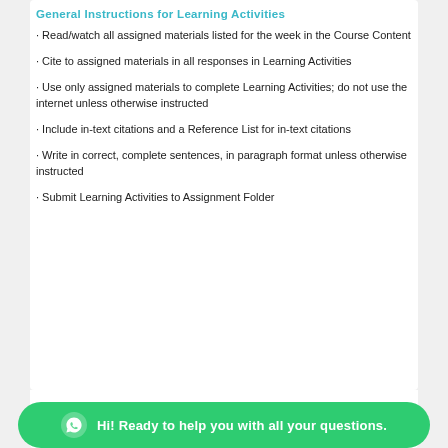General Instructions for Learning Activities
· Read/watch all assigned materials listed for the week in the Course Content
· Cite to assigned materials in all responses in Learning Activities
· Use only assigned materials to complete Learning Activities; do not use the internet unless otherwise instructed
· Include in-text citations and a Reference List for in-text citations
· Write in correct, complete sentences, in paragraph format unless otherwise instructed
· Submit Learning Activities to Assignment Folder
Hi! Ready to help you with all your questions.